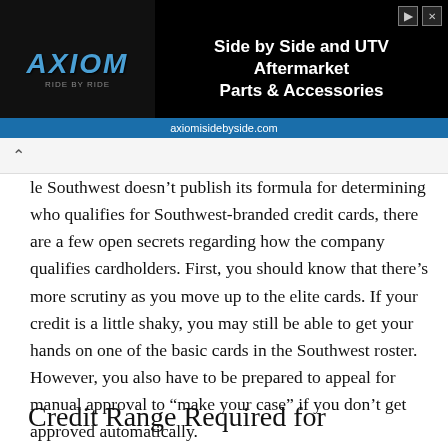[Figure (screenshot): Axiom Side by Side and UTV Aftermarket Parts & Accessories advertisement banner with URL axiomisidebyside.com]
le Southwest doesn't publish its formula for determining who qualifies for Southwest-branded credit cards, there are a few open secrets regarding how the company qualifies cardholders. First, you should know that there's more scrutiny as you move up to the elite cards. If your credit is a little shaky, you may still be able to get your hands on one of the basic cards in the Southwest roster. However, you also have to be prepared to appeal for manual approval to “make your case” if you don't get approved automatically.
Credit Range Required for